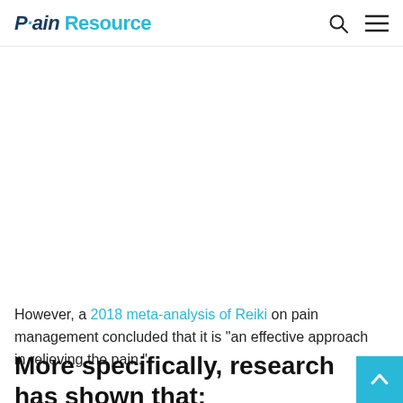Pain Resource
However, a 2018 meta-analysis of Reiki on pain management concluded that it is "an effective approach in relieving the pain."
More specifically, research has shown that: